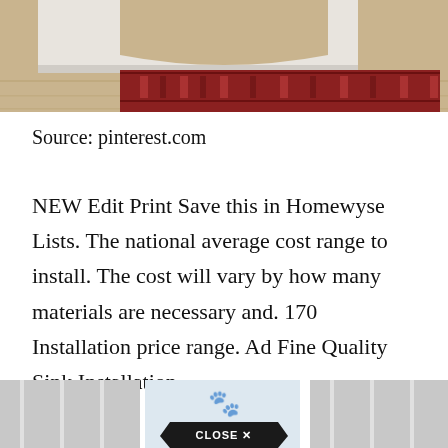[Figure (photo): Top portion of a room interior showing a wooden bench or furniture piece on hardwood flooring with a red patterned rug.]
Source: pinterest.com
NEW Edit Print Save this in Homewyse Lists. The national average cost range to install. The cost will vary by how many materials are necessary and. 170 Installation price range. Ad Fine Quality Sink Installation.
[Figure (photo): Bottom partial image showing what appears to be a bathroom or interior installation, with a dark 'CLOSE X' button overlay in the center.]